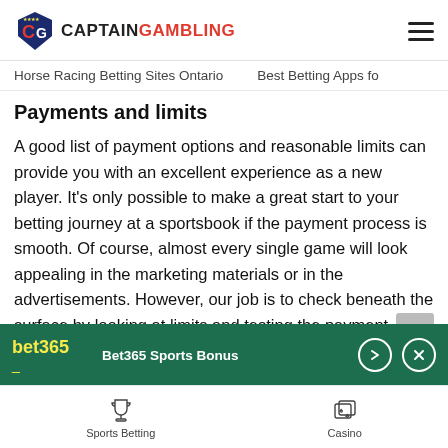CaptainGambling logo and navigation
Horse Racing Betting Sites Ontario   Best Betting Apps fo
Payments and limits
A good list of payment options and reasonable limits can provide you with an excellent experience as a new player. It's only possible to make a great start to your betting journey at a sportsbook if the payment process is smooth. Of course, almost every single game will look appealing in the marketing materials or in the advertisements. However, our job is to check beneath the surface by looking at limits and testing the payment methods ourselves. We test out the payments and limits ourselves to see how they work in reality.
[Figure (other): Bet365 Sports Bonus promotional banner with bet365 logo, title, arrow and close button on green background]
Sports Betting   Casino